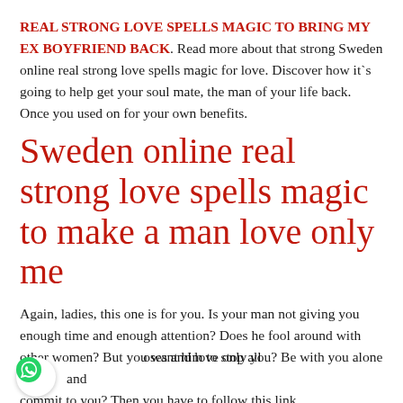REAL STRONG LOVE SPELLS MAGIC TO BRING MY EX BOYFRIEND BACK. Read more about that strong Sweden online real strong love spells magic for love. Discover how it`s going to help get your soul mate, the man of your life back. Once you used on for your own benefits.
Sweden online real strong love spells magic to make a man love only me
Again, ladies, this one is for you. Is your man not giving you enough time and enough attention? Does he fool around with other women? But you want him to stop all those and love only you? Be with you alone and commit to you? Then you have to follow this link.